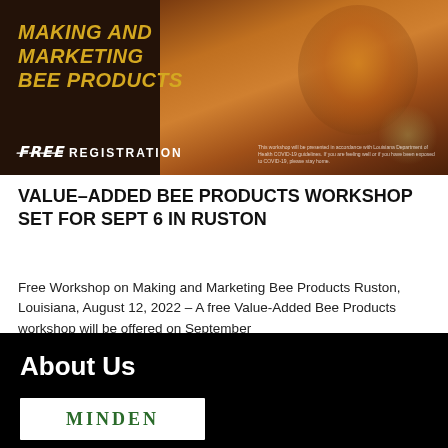[Figure (photo): Banner image for a beekeeping workshop with dark brown background, golden text reading 'Making and Marketing Bee Products', a honey jar with flowers in the background, and 'FREE REGISTRATION' text at the bottom left.]
VALUE-ADDED BEE PRODUCTS WORKSHOP SET FOR SEPT 6 IN RUSTON
Free Workshop on Making and Marketing Bee Products Ruston, Louisiana, August 12, 2022 – A free Value-Added Bee Products workshop will be offered on September
About Us
[Figure (logo): Minden logo text in green serif font on white background]